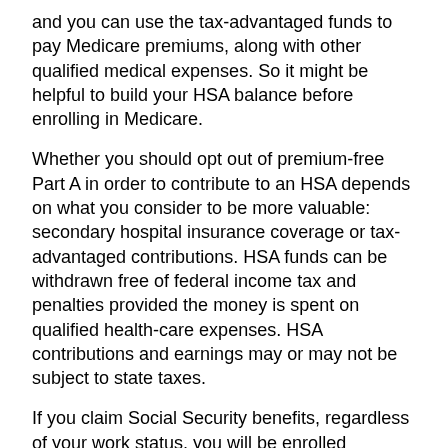and you can use the tax-advantaged funds to pay Medicare premiums, along with other qualified medical expenses. So it might be helpful to build your HSA balance before enrolling in Medicare.
Whether you should opt out of premium-free Part A in order to contribute to an HSA depends on what you consider to be more valuable: secondary hospital insurance coverage or tax-advantaged contributions. HSA funds can be withdrawn free of federal income tax and penalties provided the money is spent on qualified health-care expenses. HSA contributions and earnings may or may not be subject to state taxes.
If you claim Social Security benefits, regardless of your work status, you will be enrolled automatically in Part A and will not be able to contribute to an HSA.
Part B and Part D
Medicare Part B medical insurance, which helps pay for physician and outpatient expenses, requires premium